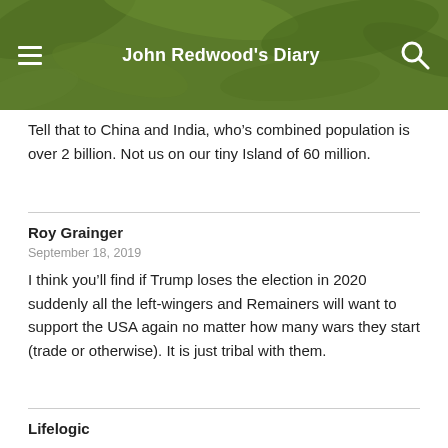John Redwood's Diary
Tell that to China and India, who’s combined population is over 2 billion. Not us on our tiny Island of 60 million.
Roy Grainger
September 18, 2019
I think you’ll find if Trump loses the election in 2020 suddenly all the left-wingers and Remainers will want to support the USA again no matter how many wars they start (trade or otherwise). It is just tribal with them.
Lifelogic